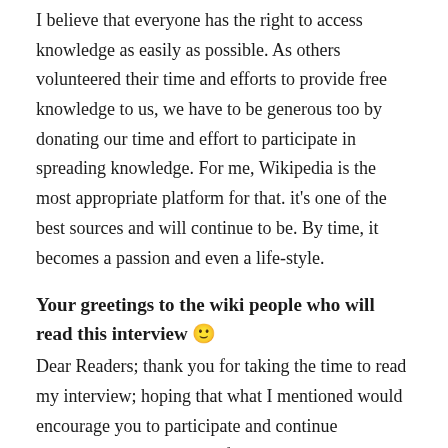I believe that everyone has the right to access knowledge as easily as possible. As others volunteered their time and efforts to provide free knowledge to us, we have to be generous too by donating our time and effort to participate in spreading knowledge. For me, Wikipedia is the most appropriate platform for that. it's one of the best sources and will continue to be. By time, it becomes a passion and even a life-style.
Your greetings to the wiki people who will read this interview 🙂
Dear Readers; thank you for taking the time to read my interview; hoping that what I mentioned would encourage you to participate and continue participating the way that fits you; participation in the wiki movement can be in different ways, even if you don't want or cannot be an editor for some reason...